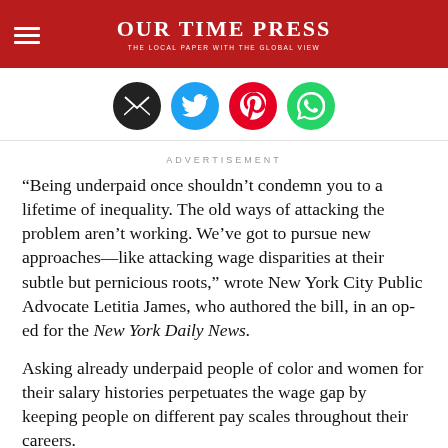Our Time Press — The Local Paper With The Global View
[Figure (infographic): Four social sharing icon circles: email (black), Twitter (blue), Pinterest (red), WhatsApp (green)]
ADVERTISEMENT
“Being underpaid once shouldn’t condemn you to a lifetime of inequality. The old ways of attacking the problem aren’t working. We’ve got to pursue new approaches—like attacking wage disparities at their subtle but pernicious roots,” wrote New York City Public Advocate Letitia James, who authored the bill, in an op-ed for the New York Daily News.
Asking already underpaid people of color and women for their salary histories perpetuates the wage gap by keeping people on different pay scales throughout their careers.